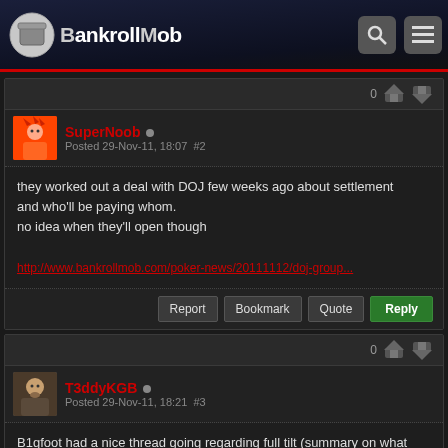The BankrollMob
SuperNoob · Posted 29-Nov-11, 18:07 #2
they worked out a deal with DOJ few weeks ago about settlement
and who'll be paying whom.
no idea when they'll open though

http://www.bankrollmob.com/poker-news/20111112/doj-group...
T3ddyKGB · Posted 29-Nov-11, 18:21 #3
B1gfoot had a nice thread going regarding full tilt (summary on what happened so far and so on), but somehow that thread disappeared.